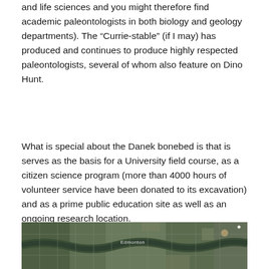and life sciences and you might therefore find academic paleontologists in both biology and geology departments). The “Currie-stable” (if I may) has produced and continues to produce highly respected paleontologists, several of whom also feature on Dino Hunt.
What is special about the Danek bonebed is that is serves as the basis for a University field course, as a citizen science program (more than 4000 hours of volunteer service have been donated to its excavation) and as a prime public education site as well as an ongoing research location.
[Figure (map): Satellite aerial view map of Edmonton area showing the city layout with river valley, roads, and urban development visible from above. The label 'Edmonton' is visible near the center of the image.]